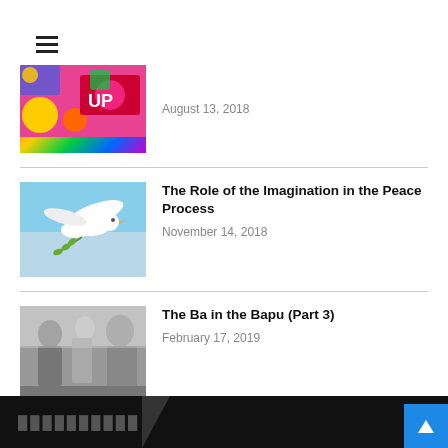[Figure (other): Hamburger menu icon (three horizontal lines)]
[Figure (photo): Partial view of colorful celebration artwork with festive patterns]
August 13, 2018
[Figure (photo): White dove flying in blue sky holding an olive branch]
The Role of the Imagination in the Peace Process
November 14, 2018
[Figure (photo): Black and white historical photograph of people]
The Ba in the Bapu (Part 3)
February 17, 2019
██████████